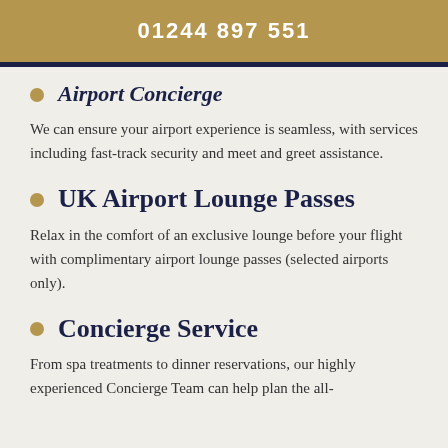01244 897 551
Airport Concierge
We can ensure your airport experience is seamless, with services including fast-track security and meet and greet assistance.
UK Airport Lounge Passes
Relax in the comfort of an exclusive lounge before your flight with complimentary airport lounge passes (selected airports only).
Concierge Service
From spa treatments to dinner reservations, our highly experienced Concierge Team can help plan the all-